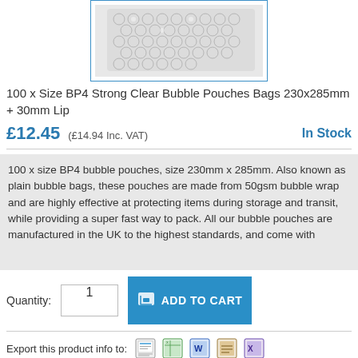[Figure (photo): Bubble wrap pouch/bag shown partially, textured bubble surface visible inside a blue-bordered image box]
100 x Size BP4 Strong Clear Bubble Pouches Bags 230x285mm + 30mm Lip
£12.45 (£14.94 Inc. VAT)   In Stock
100 x size BP4 bubble pouches, size 230mm x 285mm. Also known as plain bubble bags, these pouches are made from 50gsm bubble wrap and are highly effective at protecting items during storage and transit, while providing a super fast way to pack. All our bubble pouches are manufactured in the UK to the highest standards, and come with
Quantity: 1   ADD TO CART
Export this product info to:
[Figure (logo): PayPal circular blue button logo]
RECENTLY VIEWED PRODUCTS